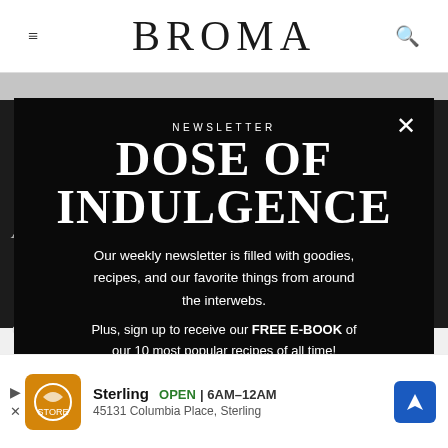BROMA
[Figure (screenshot): Newsletter popup modal on Broma website with dark background showing 'NEWSLETTER DOSE OF INDULGENCE' title, body text about weekly newsletter and free e-book, overlaid on a dark food photo page with cookie consent text and an advertisement banner for Sterling restaurant at the bottom]
NEWSLETTER
DOSE OF INDULGENCE
Our weekly newsletter is filled with goodies, recipes, and our favorite things from around the interwebs.
Plus, sign up to receive our FREE E-BOOK of our 10 most popular recipes of all time!
We use cookies on our website to give you the most relevant experience by remembering your preferences and repeat visits. By clicking "Accept", you consent to the use of ALL the cookies.
Sterling   OPEN | 6AM–12AM
45131 Columbia Place, Sterling